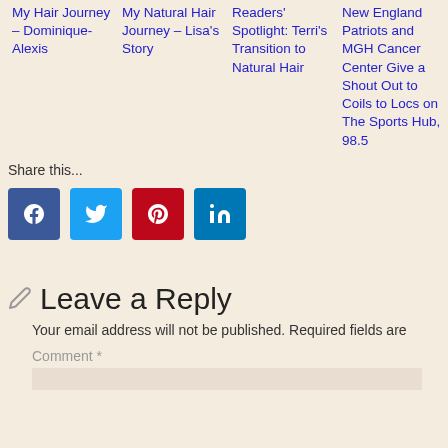My Hair Journey – Dominique-Alexis
My Natural Hair Journey – Lisa's Story
Readers' Spotlight: Terri's Transition to Natural Hair
New England Patriots and MGH Cancer Center Give a Shout Out to Coils to Locs on The Sports Hub, 98.5
Share this...
[Figure (infographic): Social share buttons: Facebook (blue), Twitter (light blue), Pinterest (red), LinkedIn (blue)]
Leave a Reply
Your email address will not be published. Required fields are
Comment *